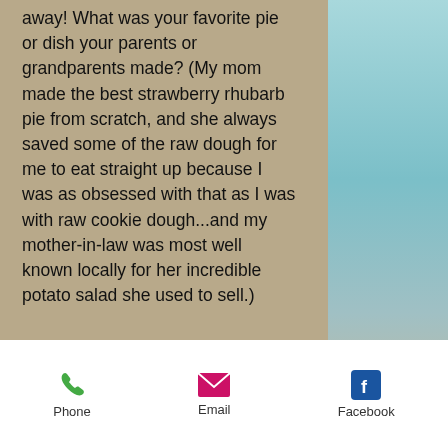away! What was your favorite pie or dish your parents or grandparents made? (My mom made the best strawberry rhubarb pie from scratch, and she always saved some of the raw dough for me to eat straight up because I was as obsessed with that as I was with raw cookie dough...and my mother-in-law was most well known locally for her incredible potato salad she used to sell.)
[Figure (other): Social share icons: Facebook (f), Twitter (bird), LinkedIn (in)]
[Figure (other): Heart/like icon in red outline]
[Figure (other): Background image on right side: teal blue sky/water with decorative glass and flower elements]
Phone   Email   Facebook